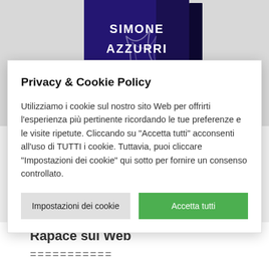[Figure (photo): Book cover showing 'SIMONE AZZURRI' text on dark blue/black background with smoke-like design elements, shown as a 3D book]
Privacy & Cookie Policy
Utilizziamo i cookie sul nostro sito Web per offrirti l'esperienza più pertinente ricordando le tue preferenze e le visite ripetute. Cliccando su "Accetta tutti" acconsenti all'uso di TUTTI i cookie. Tuttavia, puoi cliccare "Impostazioni dei cookie" qui sotto per fornire un consenso controllato.
Impostazioni dei cookie
Accetta tutti
Rapace sul Web
===========